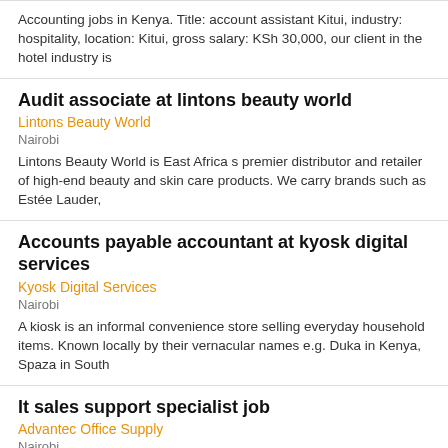Accounting jobs in Kenya. Title: account assistant Kitui, industry: hospitality, location: Kitui, gross salary: KSh 30,000, our client in the hotel industry is
Audit associate at lintons beauty world
Lintons Beauty World
Nairobi
Lintons Beauty World is East Africa s premier distributor and retailer of high-end beauty and skin care products. We carry brands such as Estée Lauder,
Accounts payable accountant at kyosk digital services
Kyosk Digital Services
Nairobi
A kiosk is an informal convenience store selling everyday household items. Known locally by their vernacular names e.g. Duka in Kenya, Spaza in South
It sales support specialist job
Advantec Office Supply
Nairobi
It jobs in Kenya. Advatech office supplies limited is predominantly a technology company providing office supplies solutions and services in over five countries
Accountant Job (30-35k)